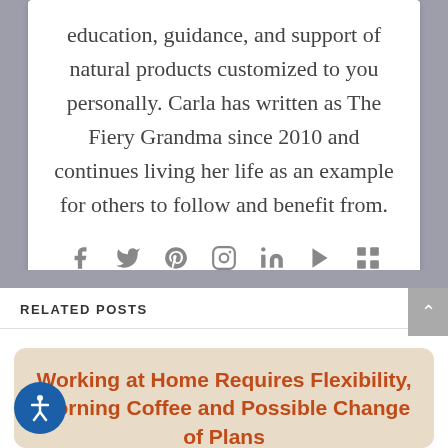education, guidance, and support of natural products customized to you personally. Carla has written as The Fiery Grandma since 2010 and continues living her life as an example for others to follow and benefit from.
[Figure (infographic): Row of social media icons: Facebook, Twitter, Pinterest, Instagram, LinkedIn, YouTube, and a share/grid icon, all in gray]
RELATED POSTS
Working at Home Requires Flexibility, Morning Coffee and Possible Change of Plans